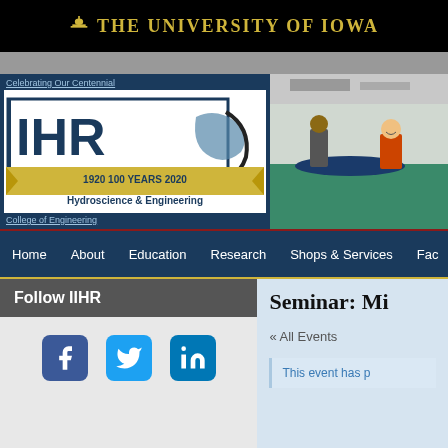The University of Iowa
Celebrating Our Centennial
[Figure (logo): IIHR Hydroscience & Engineering logo with 1920 100 YEARS 2020 centennial banner]
College of Engineering
[Figure (photo): Photo of researchers in a hydraulics lab with a boat model in water]
Home   About   Education   Research   Shops & Services   Fac
Follow IIHR
[Figure (infographic): Social media icons: Facebook, Twitter, LinkedIn]
Seminar: Mi
« All Events
This event has p